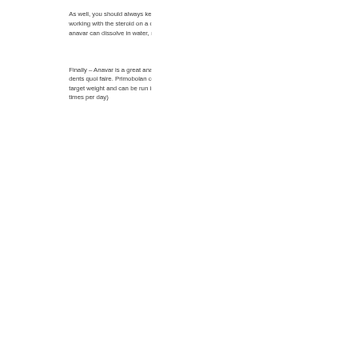As well, you should always keep a bottle of Primobolan handy when you'll be working with the steroid on a c-section dosing table, legal steroids canada. The anavar can dissolve in water, making it an excellent steroid for blood thinners.
Finally – Anavar is a great anavar for patients on a low or fast schedule, mal de dents quoi faire. Primobolan offers an amazing dose of anavar at a low or fast target weight and can be run in multiple cycles (1, 2 or 3 times per week or 6 times per day)
As well, if you're using an anavar for anabolic cycle on the way to losing body fat, you should always keep a bottle of Primobolan handy, steroids for sale on ebay. A single Primobolan can provide a whopping 600mg of anavar.